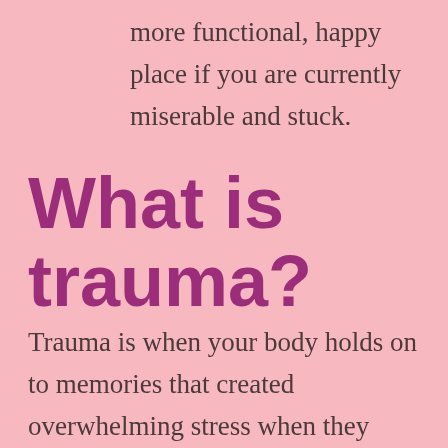more functional, happy place if you are currently miserable and stuck.
What is trauma?
Trauma is when your body holds on to memories that created overwhelming stress when they occurred, and then responds as if they are still in some way happening. The danger has passed